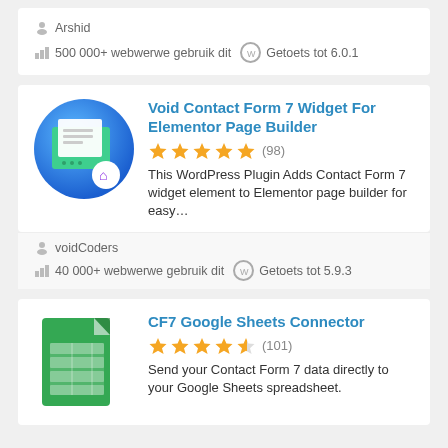Arshid
500 000+ webwerwe gebruik dit   Getoets tot 6.0.1
Void Contact Form 7 Widget For Elementor Page Builder
★★★★★ (98)
This WordPress Plugin Adds Contact Form 7 widget element to Elementor page builder for easy...
voidCoders
40 000+ webwerwe gebruik dit   Getoets tot 5.9.3
CF7 Google Sheets Connector
★★★★½ (101)
Send your Contact Form 7 data directly to your Google Sheets spreadsheet.